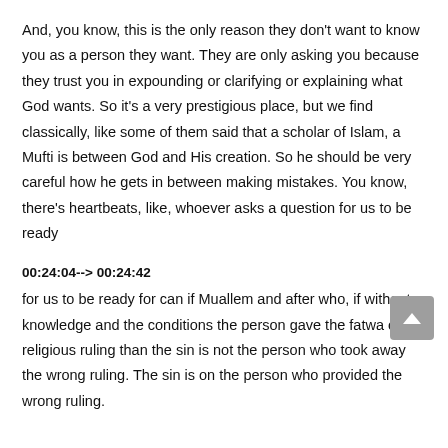And, you know, this is the only reason they don't want to know you as a person they want. They are only asking you because they trust you in expounding or clarifying or explaining what God wants. So it's a very prestigious place, but we find classically, like some of them said that a scholar of Islam, a Mufti is between God and His creation. So he should be very careful how he gets in between making mistakes. You know, there's heartbeats, like, whoever asks a question for us to be ready
00:24:04--> 00:24:42
for us to be ready for can if Muallem and after who, if without knowledge and the conditions the person gave the fatwa or the religious ruling than the sin is not the person who took away the wrong ruling. The sin is on the person who provided the wrong ruling.